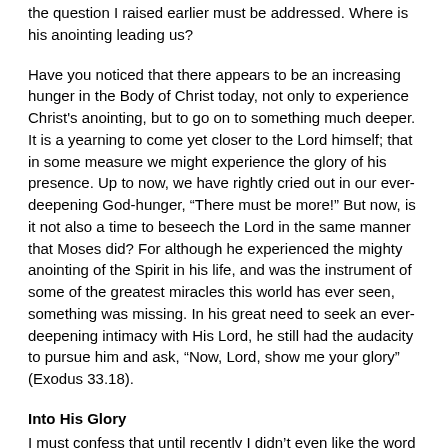the question I raised earlier must be addressed. Where is his anointing leading us?
Have you noticed that there appears to be an increasing hunger in the Body of Christ today, not only to experience Christ's anointing, but to go on to something much deeper. It is a yearning to come yet closer to the Lord himself; that in some measure we might experience the glory of his presence. Up to now, we have rightly cried out in our ever-deepening God-hunger, “There must be more!” But now, is it not also a time to beseech the Lord in the same manner that Moses did? For although he experienced the mighty anointing of the Spirit in his life, and was the instrument of some of the greatest miracles this world has ever seen, something was missing. In his great need to seek an ever-deepening intimacy with His Lord, he still had the audacity to pursue him and ask, “Now, Lord, show me your glory” (Exodus 33.18).
Into His Glory
I must confess that until recently I didn’t even like the word glory, much less understand its real meaning. I had only heard it used in a flippant, somewhat sloppy manner as a kind of religious catch-all phrase describing a variety of things. But God wants us to recover the true meaning of this precious word. Why? Because it is a word that will